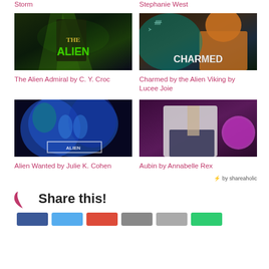Storm
Stephanie West
[Figure (photo): Book cover: THE ALIEN - sci-fi romance cover with green text on dark alien background]
The Alien Admiral by C. Y. Croc
[Figure (photo): Book cover: CHARMED - sci-fi romance cover with person and teal/dark background]
Charmed by the Alien Viking by Lucee Joie
[Figure (photo): Book cover: ALIEN WANTED - blue-toned alien romance cover]
Alien Wanted by Julie K. Cohen
[Figure (photo): Book cover: AUBIN - purple/pink sci-fi romance cover with planet]
Aubin by Annabelle Rex
by shareaholic
Share this!